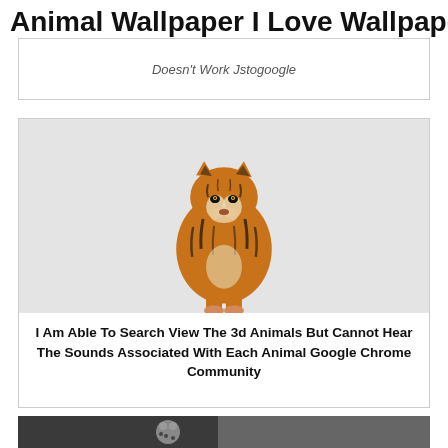Animal Wallpaper I Love Wallpaper
Doesn't Work Jstogoogle
[Figure (photo): 3D rendered tiger standing and facing forward on a light gray background]
I Am Able To Search View The 3d Animals But Cannot Hear The Sounds Associated With Each Animal Google Chrome Community
[Figure (photo): Partial photo at bottom showing a small spotted animal being held]